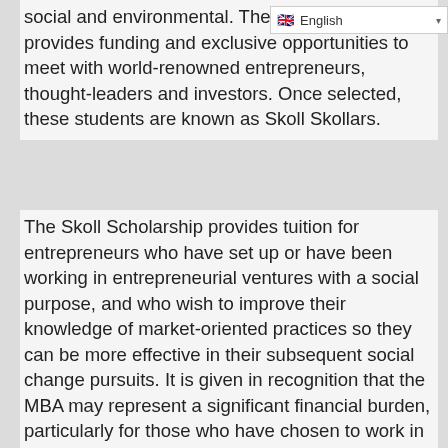social and environmental. The Scholarship provides funding and exclusive opportunities to meet with world-renowned entrepreneurs, thought-leaders and investors. Once selected, these students are known as Skoll Skollars.
The Skoll Scholarship provides tuition for entrepreneurs who have set up or have been working in entrepreneurial ventures with a social purpose, and who wish to improve their knowledge of market-oriented practices so they can be more effective in their subsequent social change pursuits. It is given in recognition that the MBA may represent a significant financial burden, particularly for those who have chosen to work in social ventures rather than the commercial or public sectors.